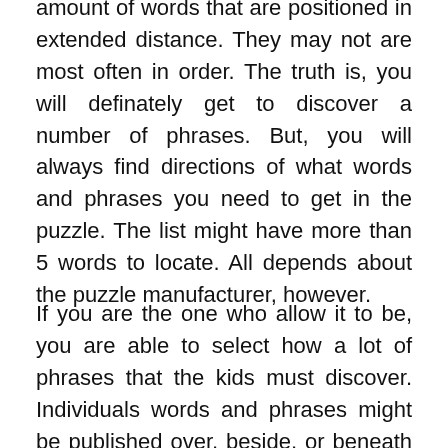amount of words that are positioned in extended distance. They may not are most often in order. The truth is, you will definately get to discover a number of phrases. But, you will always find directions of what words and phrases you need to get in the puzzle. The list might have more than 5 words to locate. All depends about the puzzle manufacturer, however.
If you are the one who allow it to be, you are able to select how a lot of phrases that the kids must discover. Individuals words and phrases might be published over, beside, or beneath the puzzle. In addition, Printable Puzzles With Solutions are mostly in sq shape. Sq . is most common design to